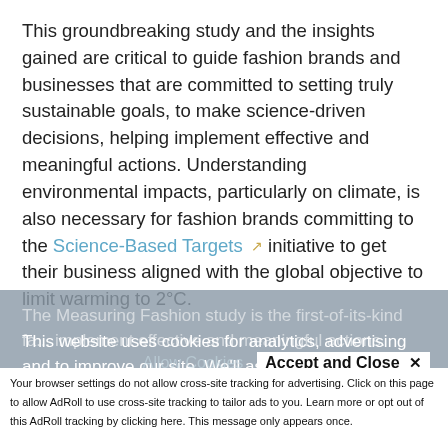This groundbreaking study and the insights gained are critical to guide fashion brands and businesses that are committed to setting truly sustainable goals, to make science-driven decisions, helping implement effective and meaningful actions. Understanding environmental impacts, particularly on climate, is also necessary for fashion brands committing to the Science-Based Targets initiative to get their business aligned with the global objective to limit warming to 2°C.
The Measuring Fashion study is the first-of-its-kind fashion...
This website uses cookies for analytics, advertising and to improve our site. We'll assume you're ok with this, but you
Allow Cookies   Accept and Close ×
Your browser settings do not allow cross-site tracking for advertising. Click on this page to allow AdRoll to use cross-site tracking to tailor ads to you. Learn more or opt out of this AdRoll tracking by clicking here. This message only appears once.